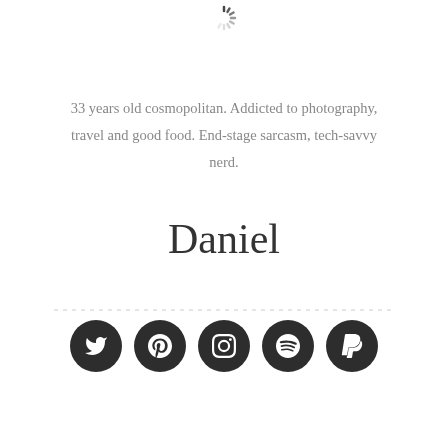[Figure (other): Loading spinner icon at the top center of the page]
33 years old cosmopolitan. Addicted to photography, travel and good food. End-stage sarcasm, tech-savvy nerd.
Daniel
[Figure (other): Horizontal dashed divider line]
[Figure (other): Row of five dark circular social media icon buttons: Twitter, Pinterest, Instagram, Spotify, PayPal]